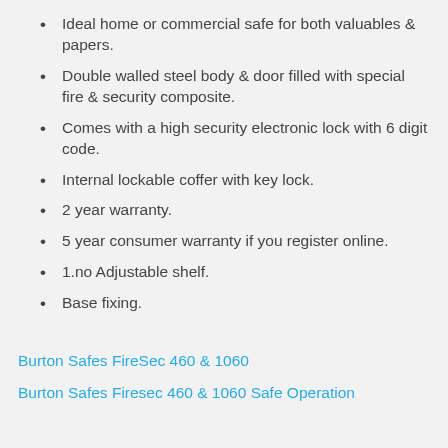Ideal home or commercial safe for both valuables & papers.
Double walled steel body & door filled with special fire & security composite.
Comes with a high security electronic lock with 6 digit code.
Internal lockable coffer with key lock.
2 year warranty.
5 year consumer warranty if you register online.
1.no Adjustable shelf.
Base fixing.
Burton Safes FireSec 460 & 1060
Burton Safes Firesec 460 & 1060 Safe Operation